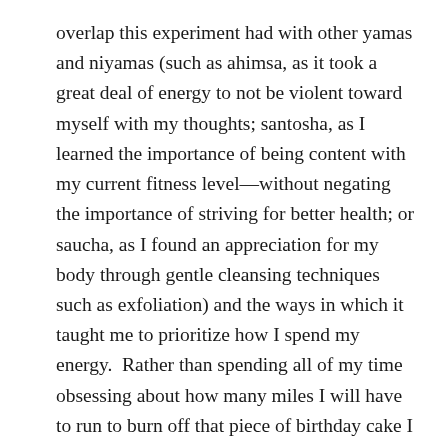overlap this experiment had with other yamas and niyamas (such as ahimsa, as it took a great deal of energy to not be violent toward myself with my thoughts; santosha, as I learned the importance of being content with my current fitness level—without negating the importance of striving for better health; or saucha, as I found an appreciation for my body through gentle cleansing techniques such as exfoliation) and the ways in which it taught me to prioritize how I spend my energy.  Rather than spending all of my time obsessing about how many miles I will have to run to burn off that piece of birthday cake I just enjoyed, I began to consciously retrain my mind to appreciate the adequateness I bring here and now.  Additionally, I appreciate that the teachings of yoga are veiled in contemporary society and accessible to those even outside the yoga path.  A quote I found myself clinging to (on my long marathon